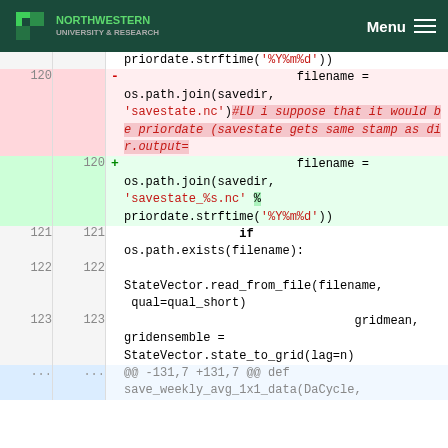NORTHWESTERN UNIVERSITY & RESEARCH | Menu
[Figure (screenshot): Code diff view showing changes to filename variable assignment. Line 120 deletion shows os.path.join(savedir, 'savestate.nc') with comment #LU i suppose that it would be priordate (savestate gets same stamp as dir.output=. Line 120 addition shows os.path.join(savedir, 'savestate_%s.nc' % priordate.strftime('%Y%m%d')). Lines 121-123 show context: if os.path.exists(filename): StateVector.read_from_file(filename, qual=qual_short) gridmean, gridensemble = StateVector.state_to_grid(lag=n). Hunk header: @@ -131,7 +131,7 @@ def save_weekly_avg_1x1_data(DaCycle,]